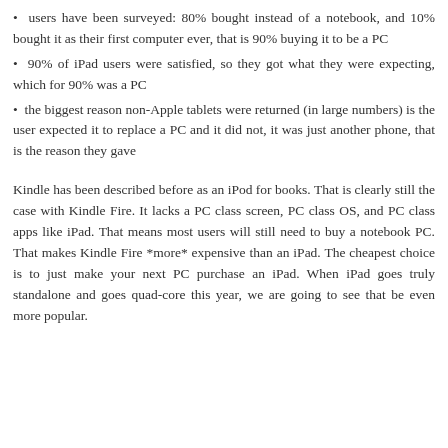quarter, they were murdered by iPad because they make notebooks whose main feature is small, but which are huge compared to iPad
users have been surveyed: 80% bought instead of a notebook, and 10% bought it as their first computer ever, that is 90% buying it to be a PC
90% of iPad users were satisfied, so they got what they were expecting, which for 90% was a PC
the biggest reason non-Apple tablets were returned (in large numbers) is the user expected it to replace a PC and it did not, it was just another phone, that is the reason they gave
Kindle has been described before as an iPod for books. That is clearly still the case with Kindle Fire. It lacks a PC class screen, PC class OS, and PC class apps like iPad. That means most users will still need to buy a notebook PC. That makes Kindle Fire *more* expensive than an iPad. The cheapest choice is to just make your next PC purchase an iPad. When iPad goes truly standalone and goes quad-core this year, we are going to see that be even more popular.